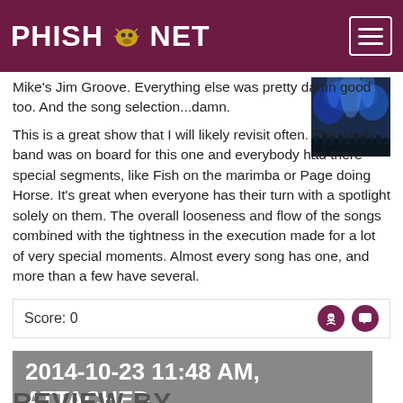Phish.Net
Mike's Jim Groove. Everything else was pretty damn good too. And the song selection...damn.
[Figure (photo): Concert photo showing blue stage lighting with crowd silhouettes]
This is a great show that I will likely revisit often. The whole band was on board for this one and everybody had there special segments, like Fish on the marimba or Page doing Horse. It's great when everyone has their turn with a spotlight solely on them. The overall looseness and flow of the songs combined with the tightness in the execution made for a lot of very special moments. Almost every song has one, and more than a few have several.
Score: 0
2014-10-23 11:48 AM, ATTACHED TO 2014-10-22
REVIEW BY